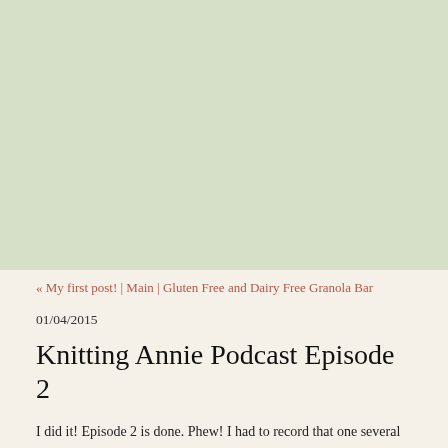[Figure (illustration): Large light sage/pale green rectangular banner filling the top portion of the page]
« My first post! | Main | Gluten Free and Dairy Free Granola Bar
01/04/2015
Knitting Annie Podcast Episode 2
I did it!  Episode 2 is done.  Phew!  I had to record that one several times due to my are the times that I miss living in the country.  I did forget to talk about the photo I which is the swirly NYC skyscape.  I was going to mention what we did for New Y about that next time.  I also need to turn my camera!  I'll play around with that